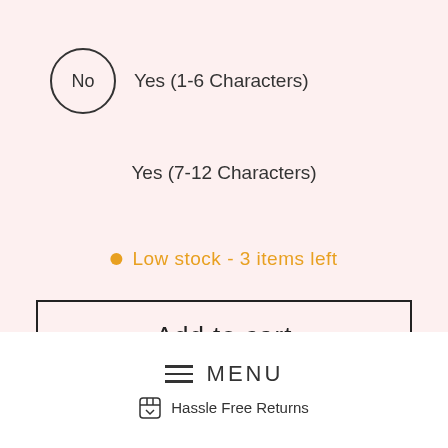No   Yes (1-6 Characters)
Yes (7-12 Characters)
Low stock - 3 items left
Add to cart
MENU
Hassle Free Returns